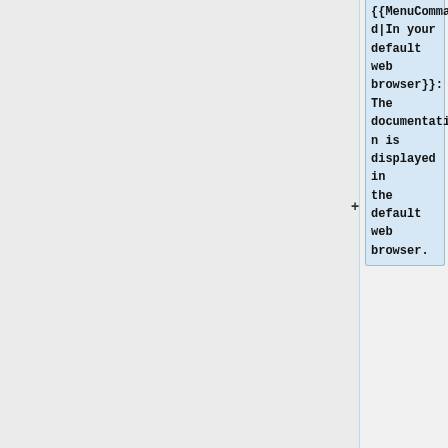{{MenuCommand|In your default web browser}}: The documentation is displayed in the default web browser.
* {{MenuCommand|In a separate, embeddable, dialog}}: The documentation is displayed in a separate